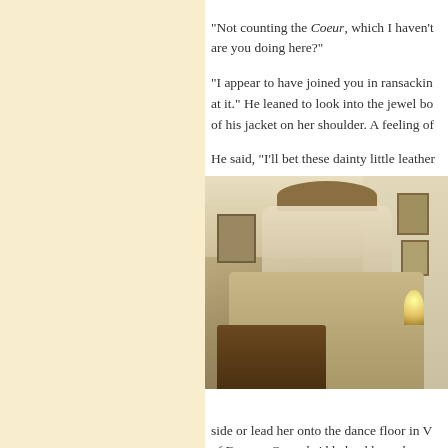“Not counting the Coeur, which I haven’t... are you doing here?”
“I appear to have joined you in ransacking... at it.” He leaned to look into the jewel bo... of his jacket on her shoulder. A feeling of...
He said, “I’ll bet these dainty little leather...
[Figure (photo): An ornate bedroom with an elaborate gilded canopy bed draped in cream/ivory fabric, antique wooden furniture, paintings on the walls, a lamp on a bedside table, and a dark wooden table in the foreground.]
side or lead her onto the dance floor in V... of Europe. Once, he’d helped her reloca...
Blast him for being Nicholas. For being s... giving up. For being clever enough to mo...